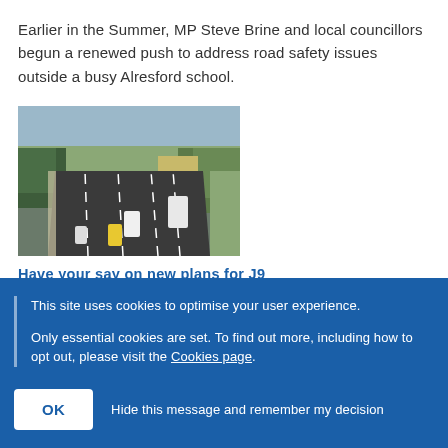Earlier in the Summer, MP Steve Brine and local councillors begun a renewed push to address road safety issues outside a busy Alresford school.
[Figure (photo): Aerial view of a multi-lane motorway (highway) with cars and lorries, flanked by trees and fields.]
Have your say on new plans for J9
Tuesday, 1 June, 2021
This site uses cookies to optimise your user experience.
Only essential cookies are set. To find out more, including how to opt out, please visit the Cookies page.
OK   Hide this message and remember my decision